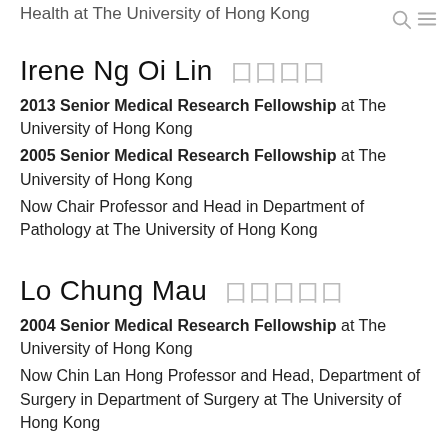Health at The University of Hong Kong
Irene Ng Oi Lin  囗囗囗囗
2013 Senior Medical Research Fellowship at The University of Hong Kong
2005 Senior Medical Research Fellowship at The University of Hong Kong
Now Chair Professor and Head in Department of Pathology at The University of Hong Kong
Lo Chung Mau  囗囗囗囗囗
2004 Senior Medical Research Fellowship at The University of Hong Kong
Now Chin Lan Hong Professor and Head, Department of Surgery in Department of Surgery at The University of Hong Kong